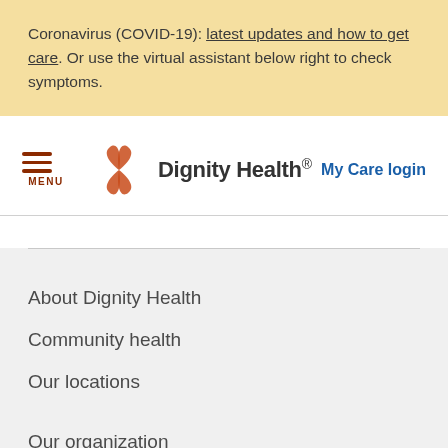Coronavirus (COVID-19): latest updates and how to get care. Or use the virtual assistant below right to check symptoms.
[Figure (logo): Dignity Health logo with stylized flower/cross icon in orange-red and the text 'Dignity Health.' in dark gray]
My Care login
About Dignity Health
Community health
Our locations
Our organization
Press center